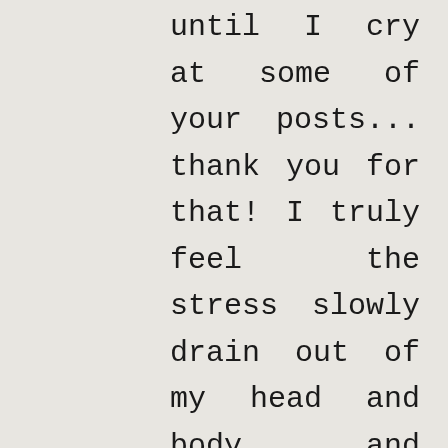until I cry at some of your posts... thank you for that! I truly feel the stress slowly drain out of my head and body, and just enjoy the moment. I sent this to a friend that has lived in Paris for a year. http://www.viewsfrommykitchensink.com Pam is a NewEnglander and has some fun stories as well. She always